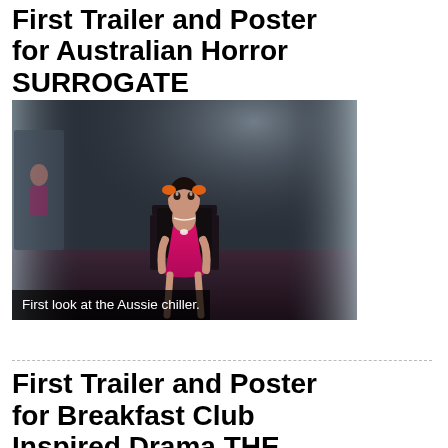First Trailer and Poster for Australian Horror SURROGATE
[Figure (photo): A young child in a bright pink/magenta dress with orange bow sitting in a dark chair, looking upward, in a dimly lit atmospheric horror scene with curtains and window light in the background.]
First look at the Aussie chiller.
First Trailer and Poster for Breakfast Club Inspired Drama THE CLASS